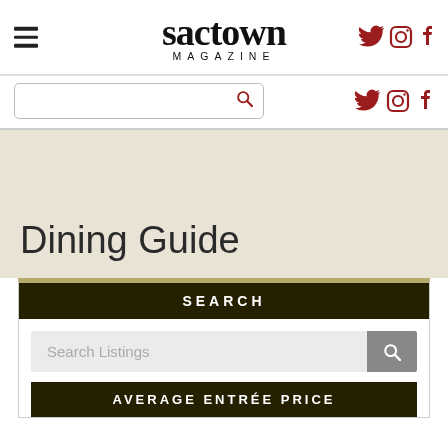sactown MAGAZINE
[Figure (logo): Sactown Magazine logo with hamburger menu icon on left and social media icons (Twitter, Instagram, Facebook) on right]
Dining Guide
SEARCH
Search Listings
AVERAGE ENTRÉE PRICE